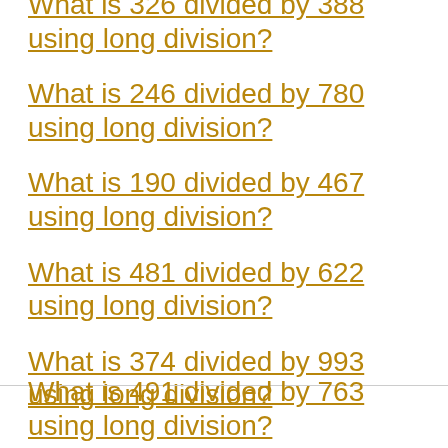What is 326 divided by 388 using long division?
What is 246 divided by 780 using long division?
What is 190 divided by 467 using long division?
What is 481 divided by 622 using long division?
What is 374 divided by 993 using long division?
What is 491 divided by 763 using long division?